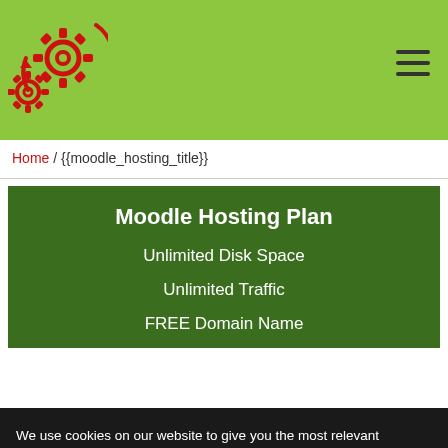[Figure (logo): Red gear/cog icons logo on green background header]
Home / {{moodle_hosting_title}}
Moodle Hosting Plan
Unlimited Disk Space
Unlimited Traffic
FREE Domain Name
We use cookies on our website to give you the most relevant experience by remembering your preferences and repeat visits. By clicking “Accept”, you consent to the use of ALL the cookies.
Do not sell my personal information.